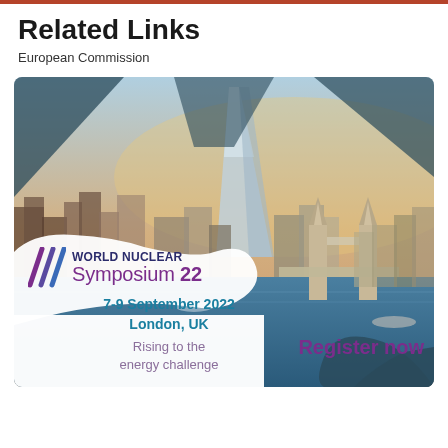Related Links
European Commission
[Figure (illustration): World Nuclear Symposium 22 promotional banner showing aerial photo of London skyline with Tower Bridge and The Shard. Overlaid with white blob shape containing event details: 7-9 September 2022, London, UK, Rising to the energy challenge. Register now button. Dark teal triangular decorative panels in corners.]